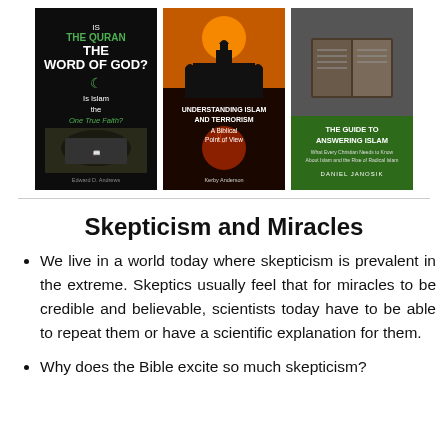[Figure (photo): Three book covers: 'Is The Quran The Word of God? Is Islam the One True Faith?' by Edward D. Andrews; 'Understanding Islam and Terrorism: A Biblical Point of View' by Kerby Anderson; 'The Guide to Answering Islam: What Every Christian Needs to Know About Islam and the Rise of Radical Islam' by Daniel Janosik]
Skepticism and Miracles
We live in a world today where skepticism is prevalent in the extreme. Skeptics usually feel that for miracles to be credible and believable, scientists today have to be able to repeat them or have a scientific explanation for them.
Why does the Bible excite so much skepticism?